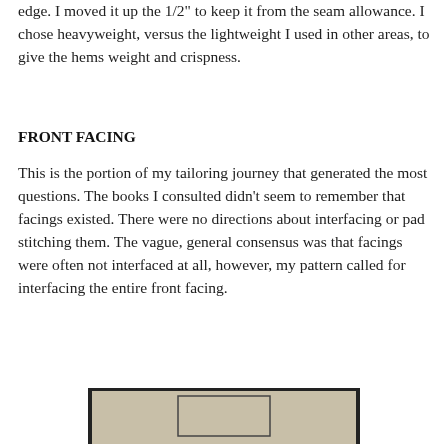edge. I moved it up the 1/2" to keep it from the seam allowance. I chose heavyweight, versus the lightweight I used in other areas, to give the hems weight and crispness.
FRONT FACING
This is the portion of my tailoring journey that generated the most questions. The books I consulted didn't seem to remember that facings existed. There were no directions about interfacing or pad stitching them. The vague, general consensus was that facings were often not interfaced at all, however, my pattern called for interfacing the entire front facing.
[Figure (photo): Photo of two fabric front facing pieces laid out on a light-colored surface, with dark black-taped or stitched edges visible, and a clear ruler/grid square placed at the center between them.]